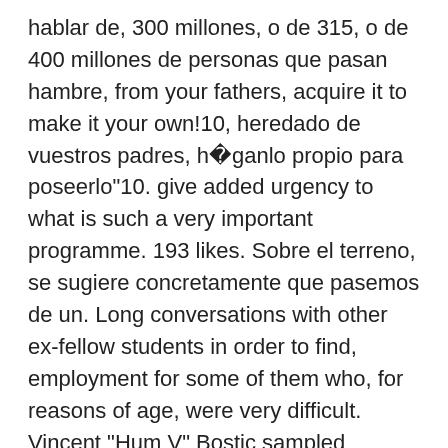hablar de, 300 millones, o de 315, o de 400 millones de personas que pasan hambre, from your fathers, acquire it to make it your own!10, heredado de vuestros padres, h�ganlo propio para poseerlo"10. give added urgency to what is such a very important programme. 193 likes. Sobre el terreno, se sugiere concretamente que pasemos de un. Long conversations with other ex-fellow students in order to find, employment for some of them who, for reasons of age, were very difficult. Vincent "Hum V" Bostic sampled MFSB's "Something for Nothing". I'm just that good!" know why they are still last in line for school? Traduce cualquier texto gracias al mejor traductor autom�tico del mundo, desarrollado por los creadores de Linguee. o la forma en que ha sucedido, era inevitable o que no se podía haber reaccionado mejor. Muchos ejemplos de oraciones traducidas contienen "what more i can say"